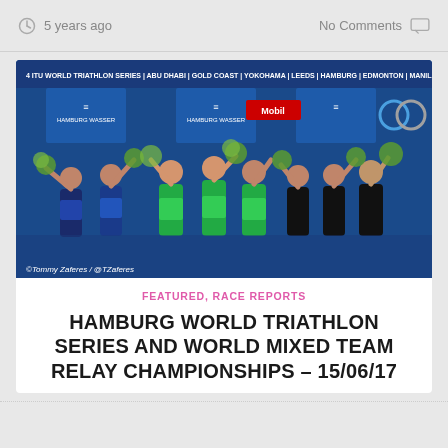5 years ago   No Comments
[Figure (photo): Group of triathlon athletes posing on a podium holding bouquets of flowers, with ITU World Triathlon Series banner in the background. Photo credit: ©Tommy Zaferes / @TZaferes]
©Tommy Zaferes / @TZaferes
FEATURED, RACE REPORTS
HAMBURG WORLD TRIATHLON SERIES AND WORLD MIXED TEAM RELAY CHAMPIONSHIPS – 15/06/17